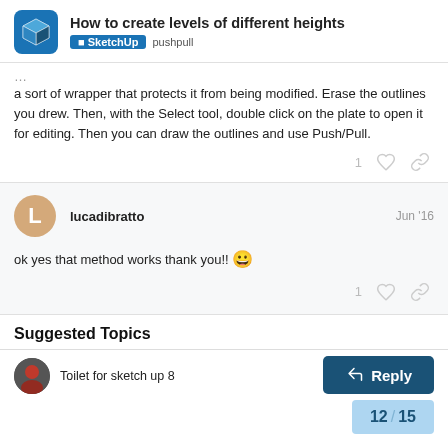How to create levels of different heights — SketchUp pushpull
a sort of wrapper that protects it from being modified. Erase the outlines you drew. Then, with the Select tool, double click on the plate to open it for editing. Then you can draw the outlines and use Push/Pull.
lucadibratto  Jun '16
ok yes that method works thank you!! 😀
Suggested Topics
Toilet for sketch up 8